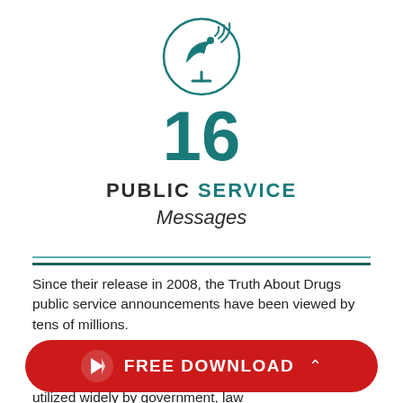[Figure (illustration): Satellite dish icon inside a circle, teal color]
16
PUBLIC SERVICE Messages
Since their release in 2008, the Truth About Drugs public service announcements have been viewed by tens of millions.
These messages provide a strong introduction to drug education pres... com... Drugs curriculum. They are utilized widely by government, law
[Figure (other): Red FREE DOWNLOAD button with cursor icon]